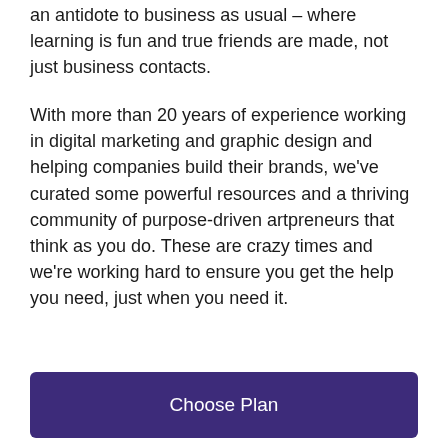an antidote to business as usual – where learning is fun and true friends are made, not just business contacts.
With more than 20 years of experience working in digital marketing and graphic design and helping companies build their brands, we've curated some powerful resources and a thriving community of purpose-driven artpreneurs that think as you do. These are crazy times and we're working hard to ensure you get the help you need, just when you need it.
Choose Plan